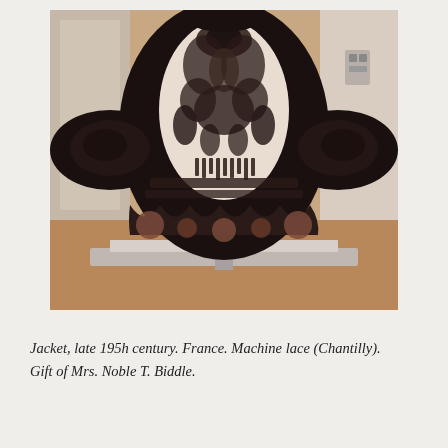[Figure (photo): A black lace jacket displayed on a museum stand inside a glass case. The jacket features intricate Chantilly machine lace patterns with floral and leaf motifs on a cream/white ground. The background shows a museum gallery with wooden flooring and white walls.]
Jacket, late 195h century. France. Machine lace (Chantilly). Gift of Mrs. Noble T. Biddle.